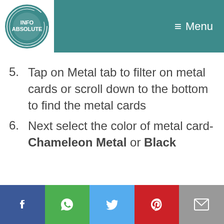[Figure (logo): Info Absolute logo - circular teal logo with text INFO ABSOLUTE]
≡ Menu
5. Tap on Metal tab to filter on metal cards or scroll down to the bottom to find the metal cards
6. Next select the color of metal card-Chameleon Metal or Black
[Figure (infographic): Social media sharing bar with Facebook, WhatsApp, Twitter, Pinterest, and Email buttons]